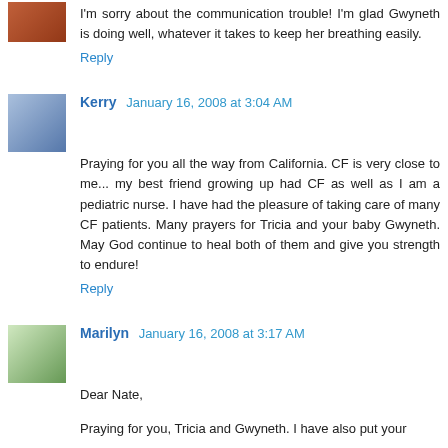I'm sorry about the communication trouble! I'm glad Gwyneth is doing well, whatever it takes to keep her breathing easily.
Reply
Kerry  January 16, 2008 at 3:04 AM
Praying for you all the way from California. CF is very close to me... my best friend growing up had CF as well as I am a pediatric nurse. I have had the pleasure of taking care of many CF patients. Many prayers for Tricia and your baby Gwyneth. May God continue to heal both of them and give you strength to endure!
Reply
Marilyn  January 16, 2008 at 3:17 AM
Dear Nate,
Praying for you, Tricia and Gwyneth. I have also put your